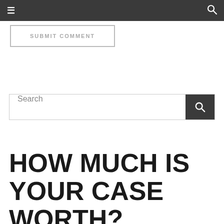≡  🔍
SUBMIT COMMENT
Search
HOW MUCH IS YOUR CASE WORTH?